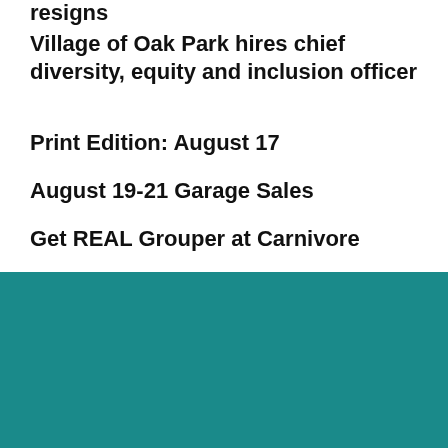resigns
Village of Oak Park hires chief diversity, equity and inclusion officer
Print Edition: August 17
August 19-21 Garage Sales
Get REAL Grouper at Carnivore
[Figure (logo): Wednesday Journal of Oak Park and River Forest logo on teal background]
PAGES
Advertise With Us